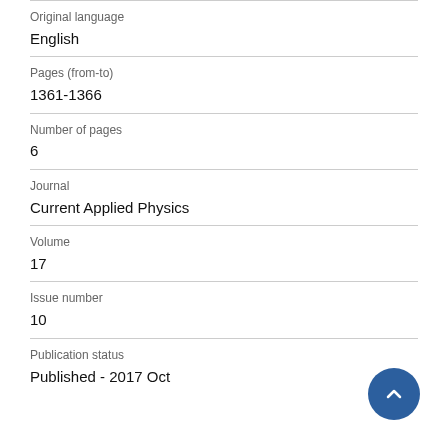Original language
English
Pages (from-to)
1361-1366
Number of pages
6
Journal
Current Applied Physics
Volume
17
Issue number
10
Publication status
Published - 2017 Oct